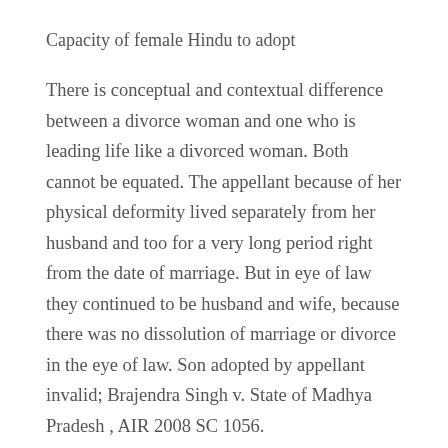Capacity of female Hindu to adopt
There is conceptual and contextual difference between a divorce woman and one who is leading life like a divorced woman. Both cannot be equated. The appellant because of her physical deformity lived separately from her husband and too for a very long period right from the date of marriage. But in eye of law they continued to be husband and wife, because there was no dissolution of marriage or divorce in the eye of law. Son adopted by appellant invalid; Brajendra Singh v. State of Madhya Pradesh , AIR 2008 SC 1056.
Where there is no evidence to show that the female Hindu was seriously ill — mentally or